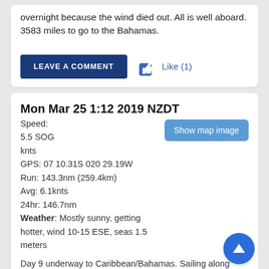overnight because the wind died out. All is well aboard. 3583 miles to go to the Bahamas.
LEAVE A COMMENT   Like (1)
Mon Mar 25 1:12 2019 NZDT
Speed:
5.5 SOG
knts
GPS: 07 10.31S 020 29.19W
Run: 143.3nm (259.4km)
Avg: 6.1knts
24hr: 146.7nm
Weather: Mostly sunny, getting hotter, wind 10-15 ESE, seas 1.5 meters
Day 9 underway to Caribbean/Bahamas. Sailing along nicely today. Had a few squalls yesterday evening, but only one was